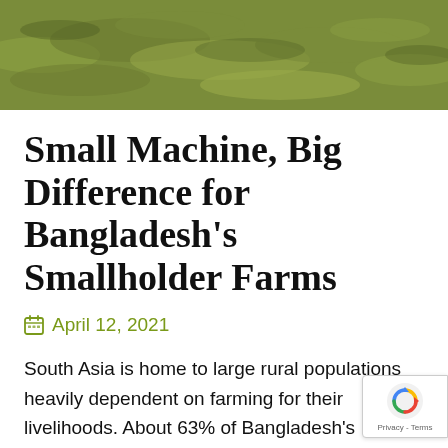[Figure (photo): Aerial or close-up photo of green grassy farmland terrain]
Small Machine, Big Difference for Bangladesh's Smallholder Farms
April 12, 2021
South Asia is home to large rural populations heavily dependent on farming for their livelihoods. About 63% of Bangladesh's population lives outside cities, according to the World Bank, while a majority of this rural population is employed in agriculture to so...